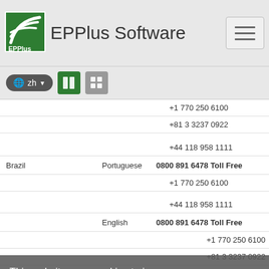EPPlus Software
| Country | Language | Phone |
| --- | --- | --- |
|  |  | +1 770 250 6100 |
|  |  | +81 3 3237 0922 |
|  |  | +44 118 958 1111 |
| Brazil | Portuguese | 0800 891 6478  Toll Free |
|  |  | +1 770 250 6100 |
|  |  | +44 118 958 1111 |
|  | English | 0800 891 6478  Toll Free |
|  |  | +1 770 250 6100 |
|  |  | +81 3 3237 0922 |
|  |  | +44 118 958 1111 |
| Canada | English | (888) 850 9911  Toll Free |
|  |  | +1 770 250 6100 |
|  |  | +81 3 3237 0922 |
This website uses cookies to improve your experience. Learn more
Got it!